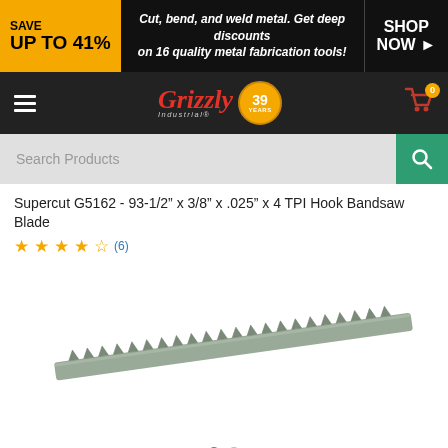[Figure (screenshot): Grizzly Industrial website banner: yellow 'SAVE UP TO 41%' block on left, white italic text 'Cut, bend, and weld metal. Get deep discounts on 16 quality metal fabrication tools!' in center, 'SHOP NOW' with arrow on right, all on black background]
[Figure (logo): Grizzly Industrial logo with red italic 'Grizzly' text, 'Industrial' subtitle, yellow '39 YEARS' circular badge, hamburger menu icon, and red shopping cart icon with yellow '0' badge]
[Figure (screenshot): Search Products bar with teal search button on right]
Supercut G5162 - 93-1/2" x 3/8" x .025" x 4 TPI Hook Bandsaw Blade
★★★★☆ (6)
[Figure (photo): Photo of a bandsaw blade - a long thin metallic blade with hook teeth, shown diagonally on white background]
Double Tap to Zoom